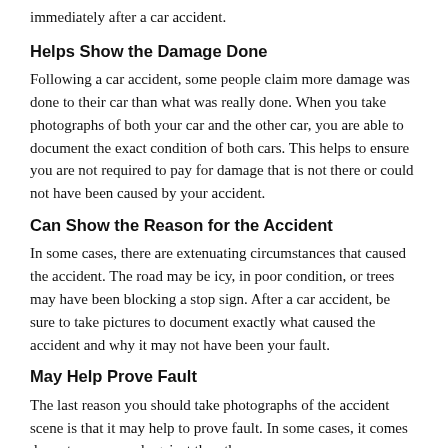immediately after a car accident.
Helps Show the Damage Done
Following a car accident, some people claim more damage was done to their car than what was really done. When you take photographs of both your car and the other car, you are able to document the exact condition of both cars. This helps to ensure you are not required to pay for damage that is not there or could not have been caused by your accident.
Can Show the Reason for the Accident
In some cases, there are extenuating circumstances that caused the accident. The road may be icy, in poor condition, or trees may have been blocking a stop sign. After a car accident, be sure to take pictures to document exactly what caused the accident and why it may not have been your fault.
May Help Prove Fault
The last reason you should take photographs of the accident scene is that it may help to prove fault. In some cases, it comes down to your word against the other